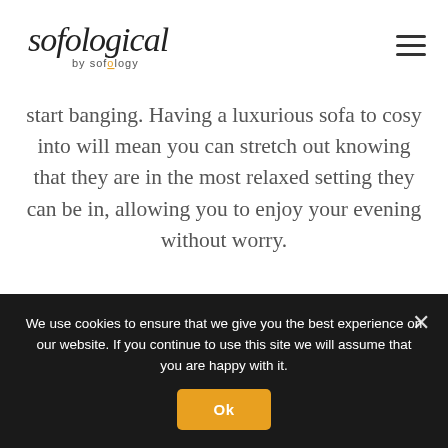[Figure (logo): Sofological by sofology logo - cursive script text]
start banging. Having a luxurious sofa to cosy into will mean you can stretch out knowing that they are in the most relaxed setting they can be in, allowing you to enjoy your evening without worry.
Advice
Leather
We use cookies to ensure that we give you the best experience on our website. If you continue to use this site we will assume that you are happy with it.
Ok